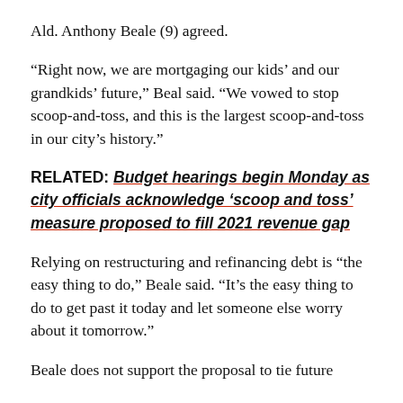Ald. Anthony Beale (9) agreed.
“Right now, we are mortgaging our kids’ and our grandkids’ future,” Beal said. “We vowed to stop scoop-and-toss, and this is the largest scoop-and-toss in our city’s history.”
RELATED: Budget hearings begin Monday as city officials acknowledge ‘scoop and toss’ measure proposed to fill 2021 revenue gap
Relying on restructuring and refinancing debt is “the easy thing to do,” Beale said. “It’s the easy thing to do to get past it today and let someone else worry about it tomorrow.”
Beale does not support the proposal to tie future